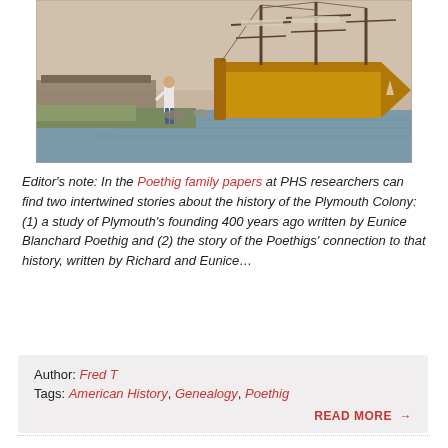[Figure (photo): A person standing on grassy waterfront looking at a large historic tall ship (Mayflower replica) docked at a harbor. Overcast sky, calm water. Vintage photograph with warm/sepia tones.]
Editor's note: In the Poethig family papers at PHS researchers can find two intertwined stories about the history of the Plymouth Colony: (1) a study of Plymouth's founding 400 years ago written by Eunice Blanchard Poethig and (2) the story of the Poethigs' connection to that history, written by Richard and Eunice...
Author: Fred T
Tags: American History, Genealogy, Poethig
READ MORE →